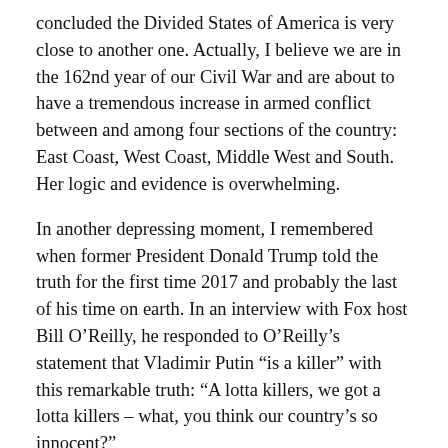concluded the Divided States of America is very close to another one. Actually, I believe we are in the 162nd year of our Civil War and are about to have a tremendous increase in armed conflict between and among four sections of the country: East Coast, West Coast, Middle West and South. Her logic and evidence is overwhelming.
In another depressing moment, I remembered when former President Donald Trump told the truth for the first time 2017 and probably the last of his time on earth. In an interview with Fox host Bill O’Reilly, he responded to O’Reilly’s statement that Vladimir Putin “is a killer” with this remarkable truth: “A lotta killers, we got a lotta killers – what, you think our country’s so innocent?”
That truth was right out of the mob boss’s playbook played by Marlon Brando in The Godfather.
Franklin Graham’s “Chosen One” continued his lying on March 12, 2022, by telling a campaign audience in